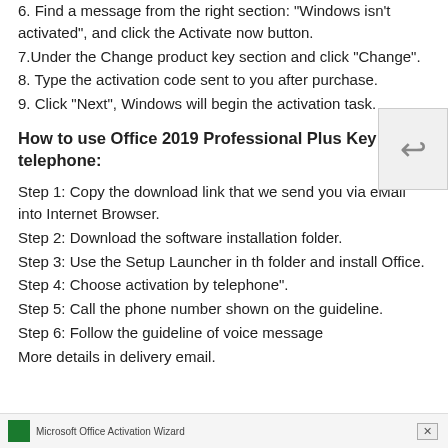6. Find a message from the right section: "Windows isn't activated", and click the Activate now button.
7.Under the Change product key section and click "Change".
8. Type the activation code sent to you after purchase.
9. Click "Next", Windows will begin the activation task.
How to use Office 2019 Professional Plus Key by telephone:
Step 1: Copy the download link that we send you via eMail into Internet Browser.
Step 2: Download the software installation folder.
Step 3: Use the Setup Launcher in th folder and install Office.
Step 4: Choose activation by telephone".
Step 5: Call the phone number shown on the guideline.
Step 6: Follow the guideline of voice message
More details in delivery email.
[Figure (screenshot): Bottom taskbar showing Microsoft Office Activation Wizard window with close button]